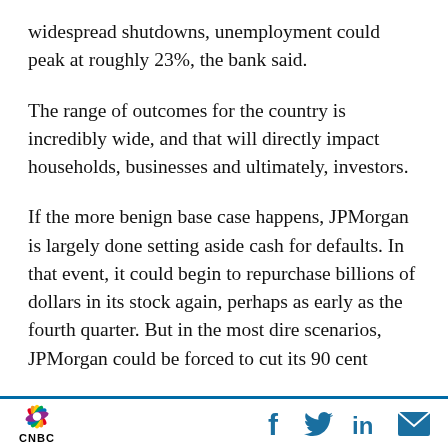widespread shutdowns, unemployment could peak at roughly 23%, the bank said.
The range of outcomes for the country is incredibly wide, and that will directly impact households, businesses and ultimately, investors.
If the more benign base case happens, JPMorgan is largely done setting aside cash for defaults. In that event, it could begin to repurchase billions of dollars in its stock again, perhaps as early as the fourth quarter. But in the most dire scenarios, JPMorgan could be forced to cut its 90 cent
CNBC logo with social media icons: Facebook, Twitter, LinkedIn, Email